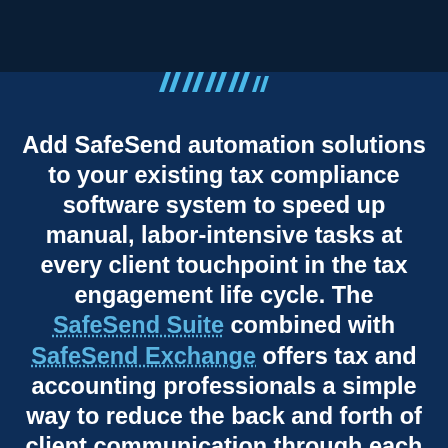[Figure (other): Decorative chevron/quotation mark graphic in cyan/teal color on a dark blue banner at the top of the page]
Add SafeSend automation solutions to your existing tax compliance software system to speed up manual, labor-intensive tasks at every client touchpoint in the tax engagement life cycle. The SafeSend Suite combined with SafeSend Exchange offers tax and accounting professionals a simple way to reduce the back and forth of client communication through each